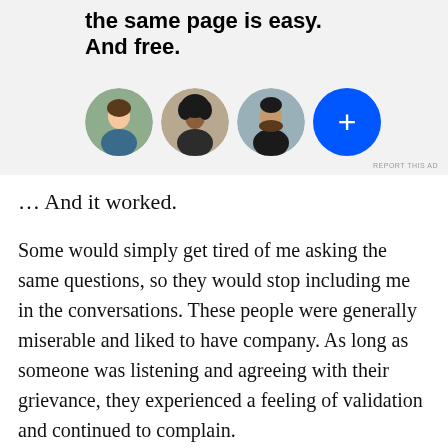[Figure (screenshot): Advertisement banner with bold text 'the same page is easy. And free.' and three circular profile photo avatars plus a blue circle with a plus sign, on a light grey background. Small 'REPORT THIS AD' label at bottom right.]
… And it worked.
Some would simply get tired of me asking the same questions, so they would stop including me in the conversations. These people were generally miserable and liked to have company. As long as someone was listening and agreeing with their grievance, they experienced a feeling of validation and continued to complain.